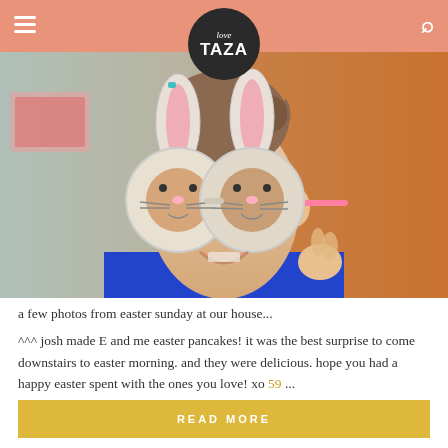love TAZA
[Figure (photo): A young child smiling and holding up bunny-shaped Easter glasses/mask in front of her face, wearing a blue shirt. Warm orange/brown blurred background on the right.]
a few photos from easter sunday at our house...
^^^ josh made E and me easter pancakes! it was the best surprise to come downstairs to easter morning. and they were delicious. hope you had a happy easter spent with the ones you love! xo 59 ...
READ MORE